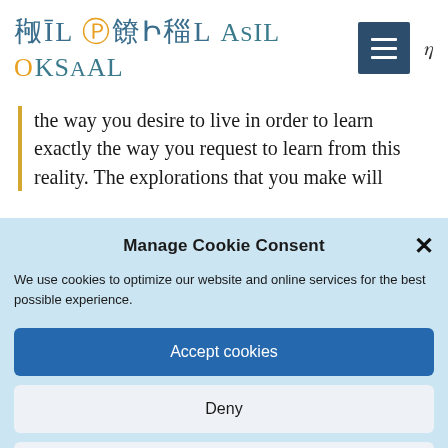ASIL TOKSAL — navigation logo and hamburger menu
the way you desire to live in order to learn exactly the way you request to learn from this reality. The explorations that you make will
Manage Cookie Consent
We use cookies to optimize our website and online services for the best possible experience.
Accept cookies
Deny
View preferences
Cookie Policy  Privacy Policy  Contact / Imprint